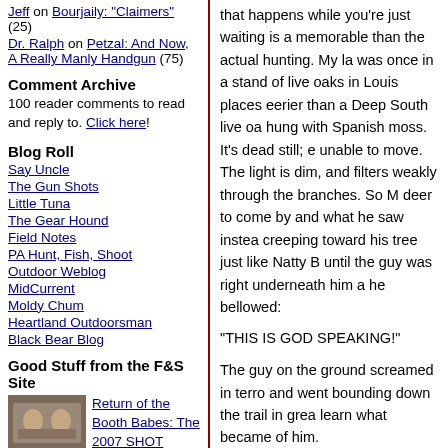Jeff on Bourjaily: "Claimers" (25)
Dr. Ralph on Petzal: And Now, A Really Manly Handgun (75)
Comment Archive
100 reader comments to read and reply to. Click here!
Blog Roll
Say Uncle
The Gun Shots
Little Tuna
The Gear Hound
Field Notes
PA Hunt, Fish, Shoot
Outdoor Weblog
MidCurrent
Moldy Chum
Heartland Outdoorsman
Black Bear Blog
Good Stuff from the F&S Site
[Figure (photo): Thumbnail photo for Return of the Booth Babes: The 2007 SHOT Show]
Return of the Booth Babes: The 2007 SHOT Show
that happens while you're just waiting is as memorable than the actual hunting. My last was once in a stand of live oaks in Louis places eerier than a Deep South live oak hung with Spanish moss. It's dead still; e unable to move. The light is dim, and filters weakly through the branches. So M deer to come by and what he saw instea creeping toward his tree just like Natty B until the guy was right underneath him ar he bellowed:
"THIS IS GOD SPEAKING!"
The guy on the ground screamed in terro and went bounding down the trail in grea learn what became of him.
****
Another F&S editor was once hunting du was a true bluebird day. Nothing was flyi dragged by. His guide, a Cree Indian, ha morning, but finally asked:
"What...you...think...about?